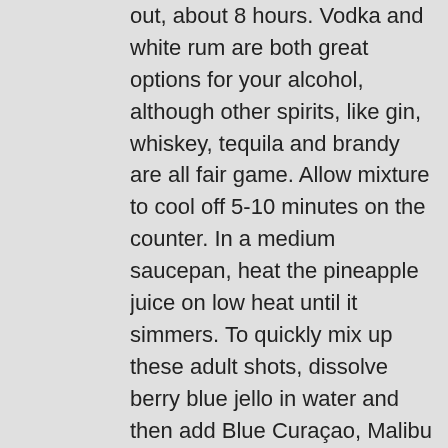out, about 8 hours. Vodka and white rum are both great options for your alcohol, although other spirits, like gin, whiskey, tequila and brandy are all fair game. Allow mixture to cool off 5-10 minutes on the counter. In a medium saucepan, heat the pineapple juice on low heat until it simmers. To quickly mix up these adult shots, dissolve berry blue jello in water and then add Blue Curaçao, Malibu Rum, and pineapple juice. 45. Add the rum … Lime & Coconut Rum Jello Shots Lori Roggenbuck. Two of those the easiest options use pineapple gelatin. Also lists similar drink recipes. 0 0. All the same ingredients as the cocktail with the same name (without the gelatin). 1 cup coconut rum ; 12 jello shot cups ; Instructions. Vodka is the most neutral, so it will allow the Jell-O to shine, while other spirits will infuse more of their own flavor